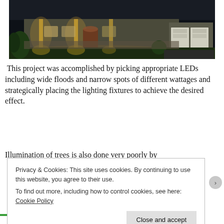[Figure (photo): Nighttime photo of a large residential house with warm LED landscape lighting illuminating the facade, columns, and garage area. The house has a craftsman style with stone accents, a dark roof, and a two-car garage on the right.]
This project was accomplished by picking appropriate LEDs including wide floods and narrow spots of different wattages and strategically placing the lighting fixtures to achieve the desired effect.
Illumination of trees is also done very poorly by
Privacy & Cookies: This site uses cookies. By continuing to use this website, you agree to their use.
To find out more, including how to control cookies, see here: Cookie Policy
Close and accept